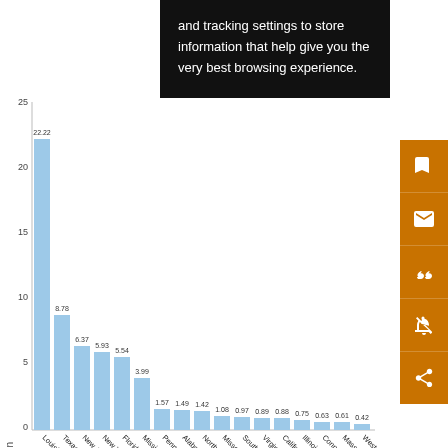[Figure (bar-chart): USD Bn by State]
and tracking settings to store information that help give you the very best browsing experience.
View Full Size